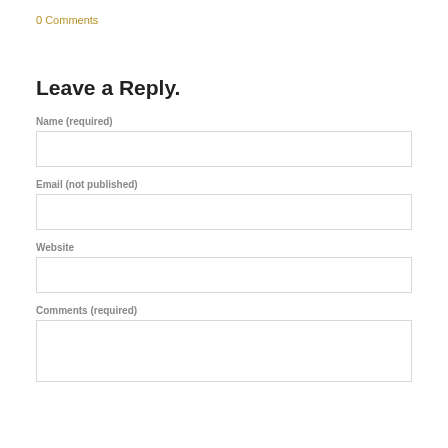0 Comments
Leave a Reply.
Name (required)
Email (not published)
Website
Comments (required)